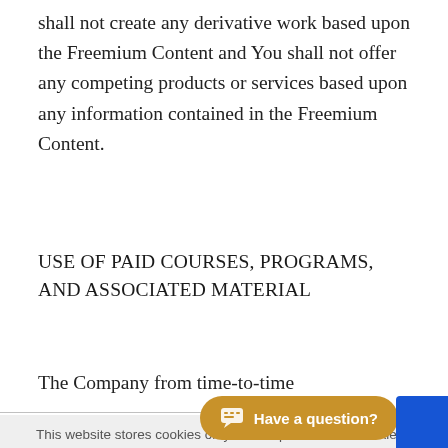shall not create any derivative work based upon the Freemium Content and You shall not offer any competing products or services based upon any information contained in the Freemium Content.
USE OF PAID COURSES, PROGRAMS, AND ASSOCIATED MATERIAL
The Company from time-to-time
This website stores cookies on your computer. These cookies are used to collect information about how you interact with our website and allow us to remember you. We use this information in order to
We'd like to show notifications for latest news and updates